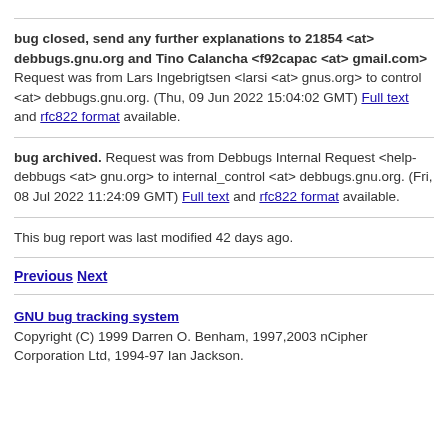bug closed, send any further explanations to 21854 <at> debbugs.gnu.org and Tino Calancha <f92capac <at> gmail.com> Request was from Lars Ingebrigtsen <larsi <at> gnus.org> to control <at> debbugs.gnu.org. (Thu, 09 Jun 2022 15:04:02 GMT) Full text and rfc822 format available.
bug archived. Request was from Debbugs Internal Request <help-debbugs <at> gnu.org> to internal_control <at> debbugs.gnu.org. (Fri, 08 Jul 2022 11:24:09 GMT) Full text and rfc822 format available.
This bug report was last modified 42 days ago.
Previous Next
GNU bug tracking system Copyright (C) 1999 Darren O. Benham, 1997,2003 nCipher Corporation Ltd, 1994-97 Ian Jackson.